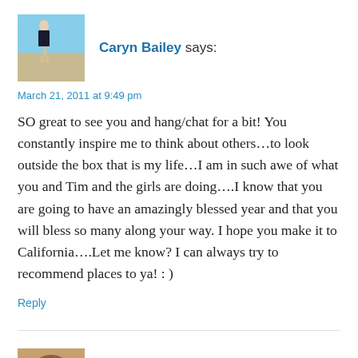[Figure (photo): Avatar photo of Caryn Bailey: person standing on a beach with blue sky]
Caryn Bailey says:
March 21, 2011 at 9:49 pm
SO great to see you and hang/chat for a bit! You constantly inspire me to think about others…to look outside the box that is my life…I am in such awe of what you and Tim and the girls are doing….I know that you are going to have an amazingly blessed year and that you will bless so many along your way. I hope you make it to California….Let me know? I can always try to recommend places to ya! : )
Reply
[Figure (photo): Avatar photo of Marina @ My Busy Children: partial head shot]
Marina @ My Busy Children says: